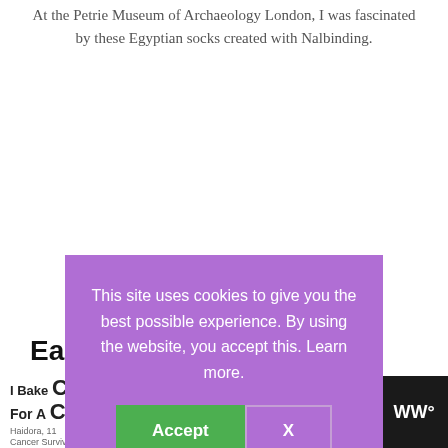At the Petrie Museum of Archaeology London, I was fascinated by these Egyptian socks created with Nalbinding.
This site uses cookies to give you the best possible experience. By using the website, you accept this. Learn more.
Early Origins of Knitting
The origins are hard to place. It happened
[Figure (screenshot): Advertisement banner: 'I Bake COOKIES For A CURE' with green badge 'So can you!' and WW logo on dark background]